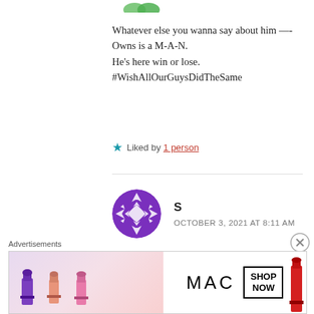[Figure (illustration): Partial avatar icon at top, two green leaf/heart shapes visible]
Whatever else you wanna say about him —-
Owns is a M-A-N.
He's here win or lose.
#WishAllOurGuysDidTheSame
★ Liked by 1 person
[Figure (illustration): Purple geometric mosaic circle avatar for commenter S]
S
OCTOBER 3, 2021 AT 8:11 AM
Hey dirtbag Owns, ucla looked like shit equal to
your demeanor
Advertisements
[Figure (illustration): MAC cosmetics advertisement banner showing lipsticks and MAC logo with SHOP NOW button]